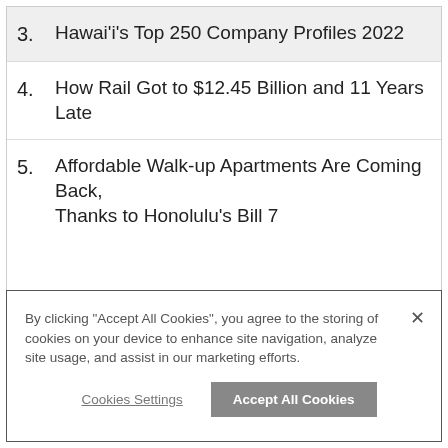3. Hawai'i's Top 250 Company Profiles 2022
4. How Rail Got to $12.45 Billion and 11 Years Late
5. Affordable Walk-up Apartments Are Coming Back, Thanks to Honolulu's Bill 7
By clicking “Accept All Cookies”, you agree to the storing of cookies on your device to enhance site navigation, analyze site usage, and assist in our marketing efforts.
Cookies Settings | Accept All Cookies